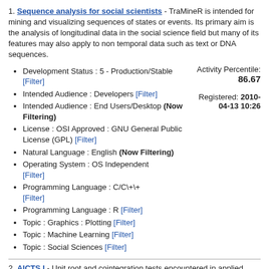1. Sequence analysis for social scientists - TraMineR is intended for mining and visualizing sequences of states or events. Its primary aim is the analysis of longitudinal data in the social science field but many of its features may also apply to non temporal data such as text or DNA sequences.
Development Status : 5 - Production/Stable [Filter]
Intended Audience : Developers [Filter]
Intended Audience : End Users/Desktop (Now Filtering)
License : OSI Approved : GNU General Public License (GPL) [Filter]
Natural Language : English (Now Filtering)
Operating System : OS Independent [Filter]
Programming Language : C/C\+\+ [Filter]
Programming Language : R [Filter]
Topic : Graphics : Plotting [Filter]
Topic : Machine Learning [Filter]
Topic : Social Sciences [Filter]
Activity Percentile: 86.67
Registered: 2010-04-13 10:26
2. AICTS I - Unit root and cointegration tests encountered in applied econometric analysis.